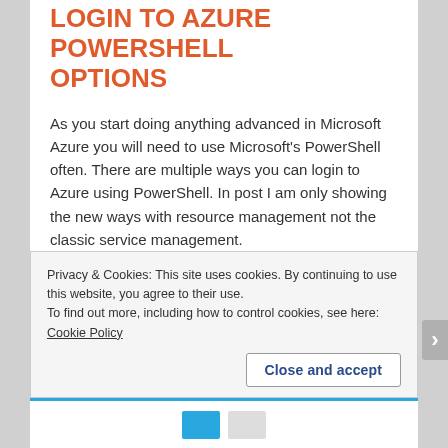LOGIN TO AZURE POWERSHELL OPTIONS
As you start doing anything advanced in Microsoft Azure you will need to use Microsoft's PowerShell often. There are multiple ways you can login to Azure using PowerShell. In post I am only showing the new ways with resource management not the classic service management.
Option 1 : Log in to Azure with Login-AzureRmAccount
PS C:\> Login-AzureRmAccount
Privacy & Cookies: This site uses cookies. By continuing to use this website, you agree to their use.
To find out more, including how to control cookies, see here: Cookie Policy
Close and accept